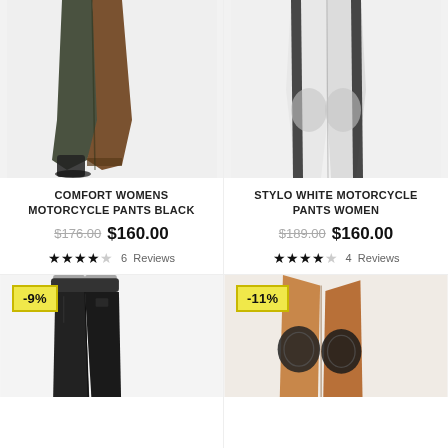[Figure (photo): Two dark leather motorcycle pants (olive green and brown) shown on legs with boots]
[Figure (photo): White and black leather motorcycle pants for women shown on legs]
COMFORT WOMENS MOTORCYCLE PANTS BLACK
$176.00  $160.00
★★★★☆  6 Reviews
STYLO WHITE MOTORCYCLE PANTS WOMEN
$189.00  $160.00
★★★★☆  4 Reviews
-9%
[Figure (photo): Black leather motorcycle pants shown from waist down]
-11%
[Figure (photo): Tan/brown leather chaps or motorcycle pants with black knee pads]